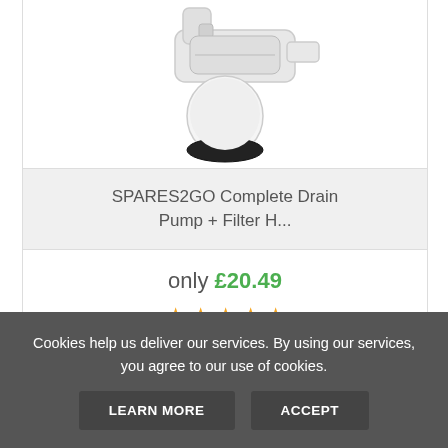[Figure (photo): Product photo of a washing machine drain pump with filter housing component, white plastic parts with black bottom]
SPARES2GO Complete Drain Pump + Filter H...
only £20.49
[Figure (other): Five gold star rating]
VIEW
ADD TO CART
Cookies help us deliver our services. By using our services, you agree to our use of cookies.
LEARN MORE
ACCEPT